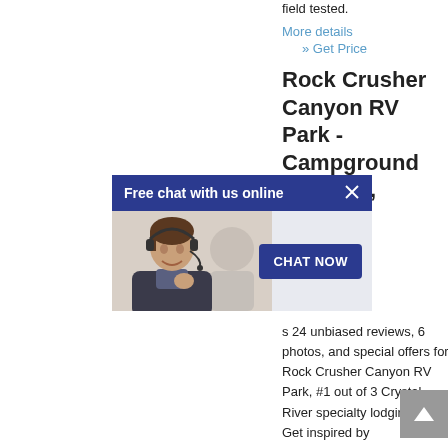field tested.
More details
» Get Price
Rock Crusher Canyon RV Park - Campground Reviews,
r park in , FL:
[Figure (screenshot): Live chat popup overlay with 'Free chat with us online' header in dark blue, a customer service representative photo on the left, and a 'CHAT NOW' button on the right]
s 24 unbiased reviews, 6 photos, and special offers for Rock Crusher Canyon RV Park, #1 out of 3 Crystal River specialty lodging. ... Get inspired by